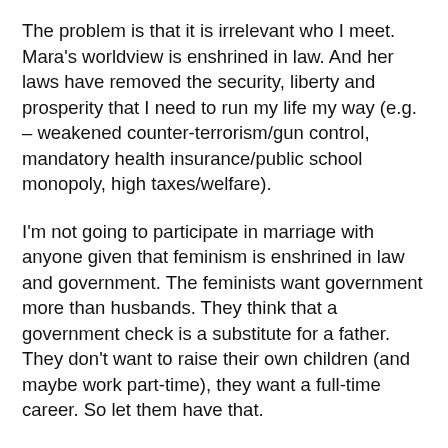The problem is that it is irrelevant who I meet. Mara's worldview is enshrined in law. And her laws have removed the security, liberty and prosperity that I need to run my life my way (e.g. – weakened counter-terrorism/gun control, mandatory health insurance/public school monopoly, high taxes/welfare).
I'm not going to participate in marriage with anyone given that feminism is enshrined in law and government. The feminists want government more than husbands. They think that a government check is a substitute for a father. They don't want to raise their own children (and maybe work part-time), they want a full-time career. So let them have that.
If complementarian Christian women want to marry, let them get out there and make their